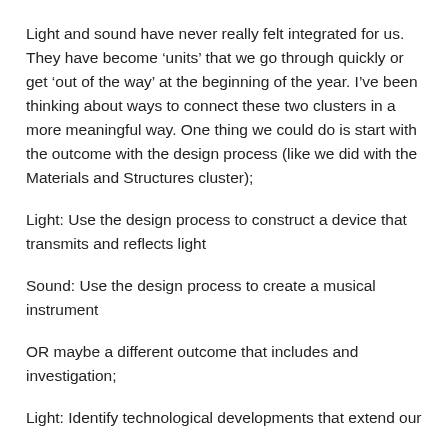Light and sound have never really felt integrated for us. They have become ‘units’ that we go through quickly or get ‘out of the way’ at the beginning of the year. I’ve been thinking about ways to connect these two clusters in a more meaningful way. One thing we could do is start with the outcome with the design process (like we did with the Materials and Structures cluster);
Light: Use the design process to construct a device that transmits and reflects light
Sound: Use the design process to create a musical instrument
OR maybe a different outcome that includes and investigation;
Light: Identify technological developments that extend our